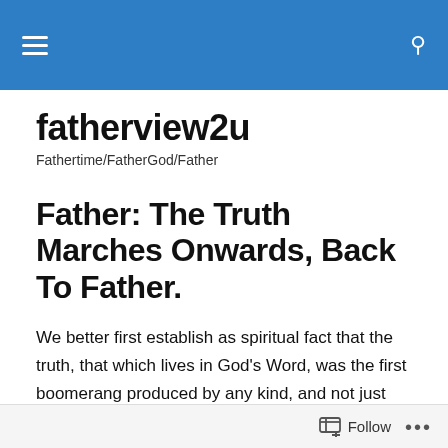fatherview2u — navigation bar
fatherview2u
Fathertime/FatherGod/Father
Father: The Truth Marches Onwards, Back To Father.
We better first establish as spiritual fact that the truth, that which lives in God's Word, was the first boomerang produced by any kind, and not just mankind. Yeah, it was Father himself that produced the first boomerang: he sent forth His Word, whence it accomplished its intended
Follow ...